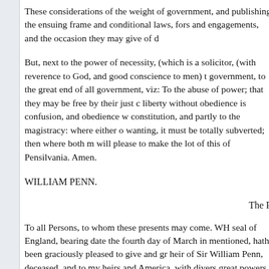These considerations of the weight of government, and publishing the ensuing frame and conditional laws, fors and engagements, and the occasion they may give of d
But, next to the power of necessity, (which is a solicitor, (with reverence to God, and good conscience to men) t government, to the great end of all government, viz: To the abuse of power; that they may be free by their just c liberty without obedience is confusion, and obedience w constitution, and partly to the magistracy: where either o wanting, it must be totally subverted; then where both m will please to make the lot of this of Pensilvania. Amen.
WILLIAM PENN.
The P
To all Persons, to whom these presents may come. WH seal of England, bearing date the fourth day of March in mentioned, hath been graciously pleased to give and gr heir of Sir William Penn, deceased, and to my heirs and America, with divers great powers, pre-eminences, roya government thereof: Now know ye, that for the well-beir the freemen and planters that may be therein concerne have declared, granted, and confirmed, and by these pr all the freemen, planters and adventurers of, in and to th enjoyed and kept by the freemen, planters, and inhabita